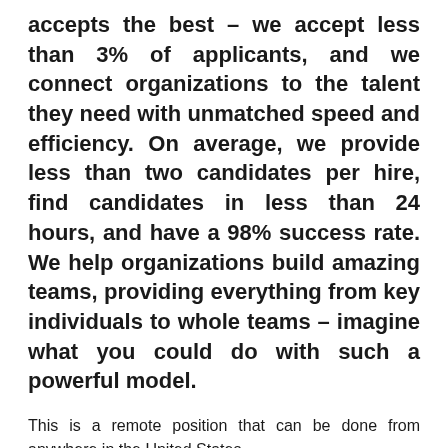accepts the best – we accept less than 3% of applicants, and we connect organizations to the talent they need with unmatched speed and efficiency. On average, we provide less than two candidates per hire, find candidates in less than 24 hours, and have a 98% success rate. We help organizations build amazing teams, providing everything from key individuals to whole teams – imagine what you could do with such a powerful model.
This is a remote position that can be done from anywhere in the United States.